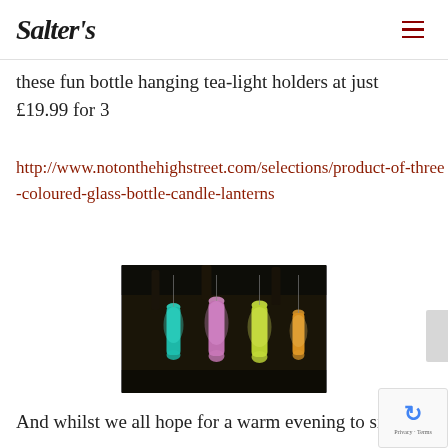Salter's
these fun bottle hanging tea-light holders at just £19.99 for 3
http://www.notonthehighstreet.com/selections/product-of-three-coloured-glass-bottle-candle-lanterns
[Figure (photo): Photo of coloured glass bottle candle lanterns hanging from a tree branch, lit up in teal, pink, and yellow/green colours against a dark background.]
And whilst we all hope for a warm evening to sit